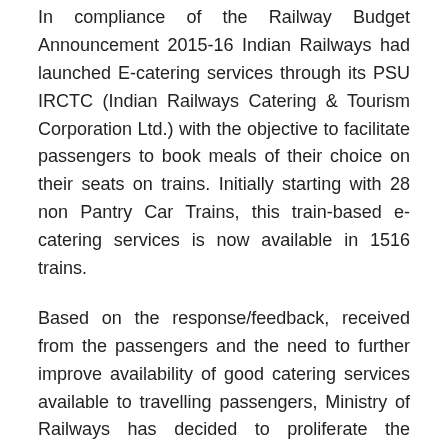In compliance of the Railway Budget Announcement 2015-16 Indian Railways had launched E-catering services through its PSU IRCTC (Indian Railways Catering & Tourism Corporation Ltd.) with the objective to facilitate passengers to book meals of their choice on their seats on trains. Initially starting with 28 non Pantry Car Trains, this train-based e-catering services is now available in 1516 trains.
Based on the response/feedback, received from the passengers and the need to further improve availability of good catering services available to travelling passengers, Ministry of Railways has decided to proliferate the existing train-based E-catering scheme additionally to station-based E-catering. In the first phase, the scheme of station based E-catering has been made available on pilot basis on 45 major stations. Under this extended scheme, travelling passengers would